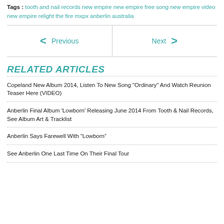Tags : tooth and nail records new empire new empire free song new empire video new empire relight the fire mxpx anberlin australia
Previous | Next
RELATED ARTICLES
Copeland New Album 2014, Listen To New Song "Ordinary" And Watch Reunion Teaser Here (VIDEO)
Anberlin Final Album 'Lowborn' Releasing June 2014 From Tooth & Nail Records, See Album Art & Tracklist
Anberlin Says Farewell With “Lowborn”
See Anberlin One Last Time On Their Final Tour